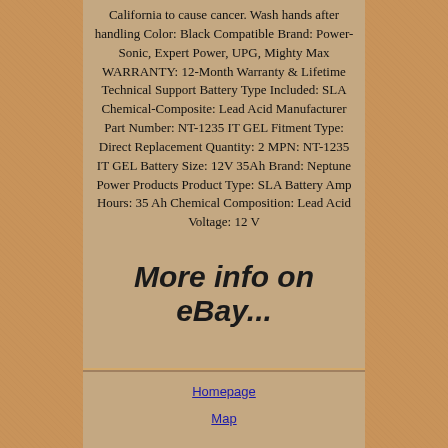California to cause cancer. Wash hands after handling Color: Black Compatible Brand: Power-Sonic, Expert Power, UPG, Mighty Max WARRANTY: 12-Month Warranty & Lifetime Technical Support Battery Type Included: SLA Chemical-Composite: Lead Acid Manufacturer Part Number: NT-1235 IT GEL Fitment Type: Direct Replacement Quantity: 2 MPN: NT-1235 IT GEL Battery Size: 12V 35Ah Brand: Neptune Power Products Product Type: SLA Battery Amp Hours: 35 Ah Chemical Composition: Lead Acid Voltage: 12 V
More info on eBay...
Homepage
Map